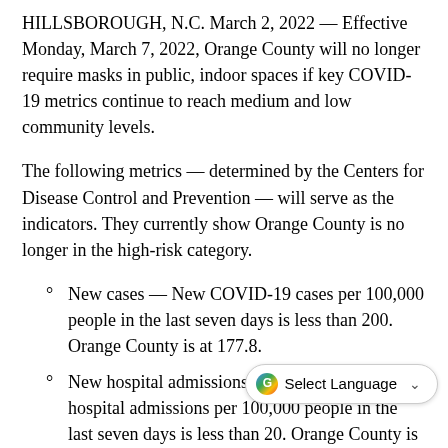HILLSBOROUGH, N.C. March 2, 2022 — Effective Monday, March 7, 2022, Orange County will no longer require masks in public, indoor spaces if key COVID-19 metrics continue to reach medium and low community levels.
The following metrics — determined by the Centers for Disease Control and Prevention — will serve as the indicators. They currently show Orange County is no longer in the high-risk category.
New cases — New COVID-19 cases per 100,000 people in the last seven days is less than 200. Orange County is at 177.8.
New hospital admissions — New COVID-19 hospital admissions per 100,000 people in the last seven days is less than 20. Orange County is at 16.84.
Inpatient beds — Percent of sta... occupied by COVID-19 patients (7-day average) is